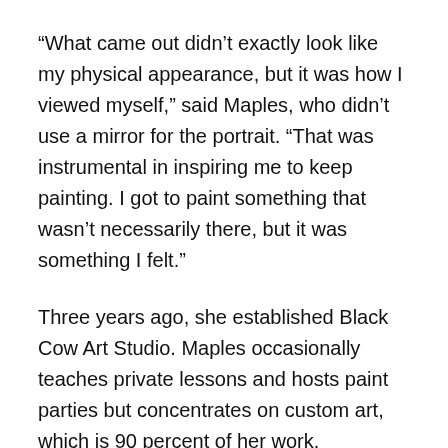“What came out didn’t exactly look like my physical appearance, but it was how I viewed myself,” said Maples, who didn’t use a mirror for the portrait. “That was instrumental in inspiring me to keep painting. I got to paint something that wasn’t necessarily there, but it was something I felt.”
Three years ago, she established Black Cow Art Studio. Maples occasionally teaches private lessons and hosts paint parties but concentrates on custom art, which is 90 percent of her work.
When creating a piece, Maples starts with a photograph of her subject, sets up shop on her dining room table with brushes and hues of paint. She gets lost smudging, blending and creating barns, horses, cows and pets.